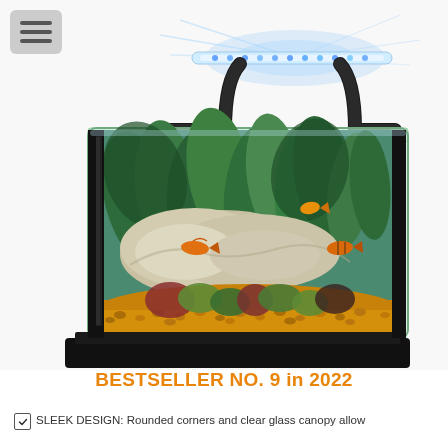[Figure (photo): A small glass aquarium tank with rounded corners, LED lighting bar mounted on a black curved arm above the tank, filled with golden gravel substrate, white rock decoration, green aquatic plants, and small tropical fish swimming inside. The tank sits on a black rectangular base. A hamburger menu icon button appears in the upper left corner of the page.]
BESTSELLER NO. 9 in 2022
✓ SLEEK DESIGN: Rounded corners and clear glass canopy allow